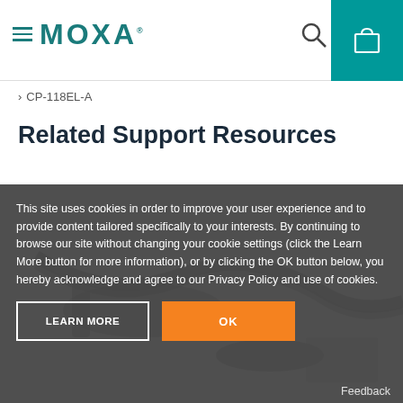≡ MOXA
CP-118EL-A
Related Support Resources
This site uses cookies in order to improve your user experience and to provide content tailored specifically to your interests. By continuing to browse our site without changing your cookie settings (click the Learn More button for more information), or by clicking the OK button below, you hereby acknowledge and agree to our Privacy Policy and use of cookies.
LEARN MORE
OK
Feedback